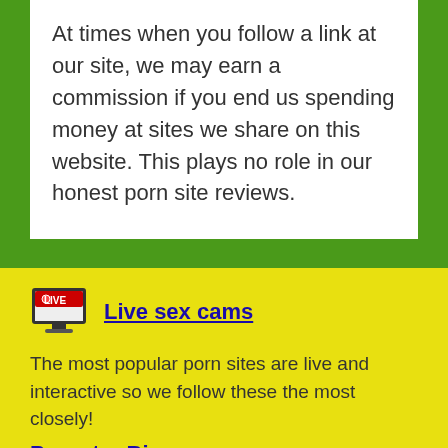At times when you follow a link at our site, we may earn a commission if you end us spending money at sites we share on this website. This plays no role in our honest porn site reviews.
[Figure (illustration): LIVE icon: a monitor/TV with a red LIVE label and a record button]
Live sex cams
The most popular porn sites are live and interactive so we follow these the most closely!
Pornstar Bios
Learn all there is to know about your favorite pornstars of the